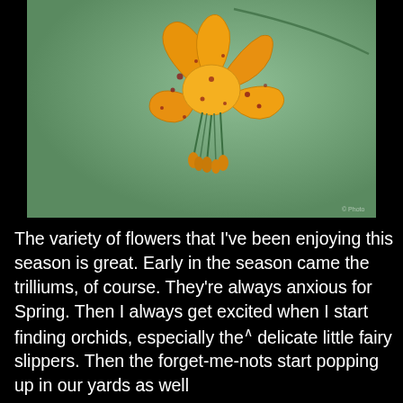[Figure (photo): Close-up photograph of an orange tiger lily flower with spotted petals curled backward, green stamens hanging down, against a soft green background.]
The variety of flowers that I've been enjoying this season is great. Early in the season came the trilliums, of course. They're always anxious for Spring. Then I always get excited when I start finding orchids, especially the delicate little fairy slippers. Then the forget-me-nots start popping up in our yards as well